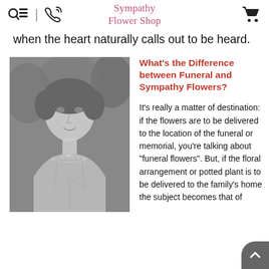Sympathy Flower Shop
when the heart naturally calls out to be heard.
[Figure (photo): Black and white portrait photograph of an elegantly dressed woman wearing a pearl necklace, with flowers in the background.]
What's the Difference between Funeral and Sympathy Flowers?
It's really a matter of destination: if the flowers are to be delivered to the location of the funeral or memorial, you're talking about "funeral flowers". But, if the floral arrangement or potted plant is to be delivered to the family's home the subject becomes that of